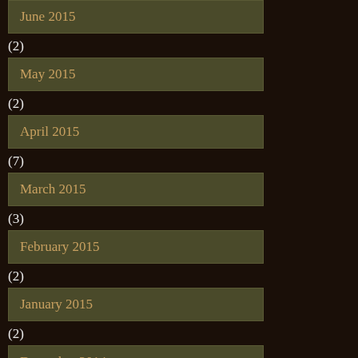June 2015
(2)
May 2015
(2)
April 2015
(7)
March 2015
(3)
February 2015
(2)
January 2015
(2)
December 2014
(5)
November 2014
(10)